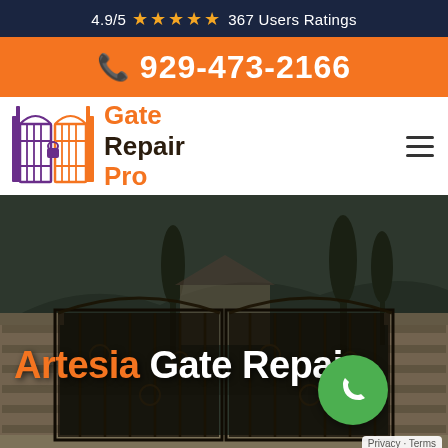4.9/5 ★★★★★ 367 Users Ratings
929-473-2166
[Figure (logo): Gate Repair Pro logo with orange and purple gate icon and text 'Gate Repair Pro']
[Figure (photo): Artesia Gate Repair hero image with ornate wrought iron double gate, stone pillars, trees in background, overlay text 'Artesia Gate Repair' and green phone call button]
Privacy · Terms